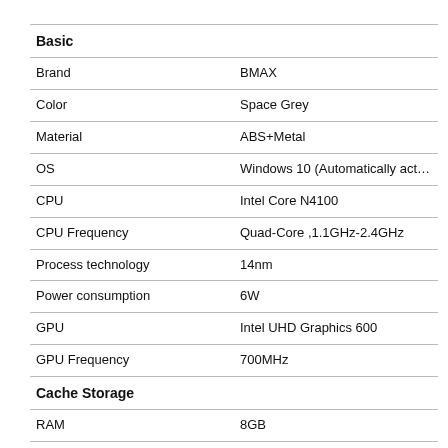|  |  |
| --- | --- |
| Basic |  |
| Brand | BMAX |
| Color | Space Grey |
| Material | ABS+Metal |
| OS | Windows 10 (Automatically activate onli... |
| CPU | Intel Core N4100 |
| CPU Frequency | Quad-Core ,1.1GHz-2.4GHz |
| Process technology | 14nm |
| Power consumption | 6W |
| GPU | Intel UHD Graphics 600 |
| GPU Frequency | 700MHz |
| Cache Storage |  |
| RAM | 8GB |
| RAM Type | LPDDR4 |
| Hard Disk Memory | 128GB SSD |